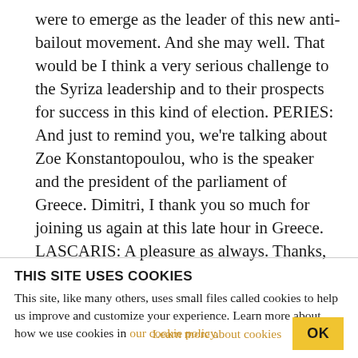were to emerge as the leader of this new anti-bailout movement. And she may well. That would be I think a very serious challenge to the Syriza leadership and to their prospects for success in this kind of election. PERIES: And just to remind you, we're talking about Zoe Konstantopoulou, who is the speaker and the president of the parliament of Greece. Dimitri, I thank you so much for joining us again at this late hour in Greece. LASCARIS: A pleasure as always. Thanks, Sharmini. PERIES: And thank you for joining us on the Real News Network.
THIS SITE USES COOKIES
This site, like many others, uses small files called cookies to help us improve and customize your experience. Learn more about how we use cookies in our cookie policy.
Learn more about cookies   OK